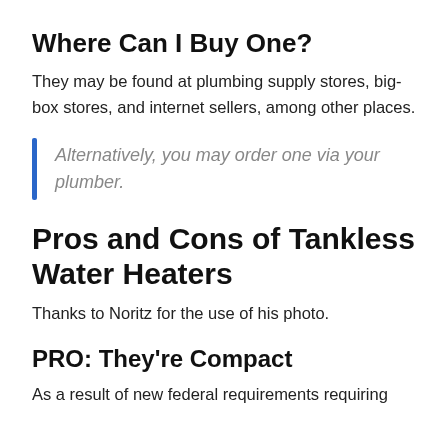Where Can I Buy One?
They may be found at plumbing supply stores, big-box stores, and internet sellers, among other places.
Alternatively, you may order one via your plumber.
Pros and Cons of Tankless Water Heaters
Thanks to Noritz for the use of his photo.
PRO: They're Compact
As a result of new federal requirements requiring